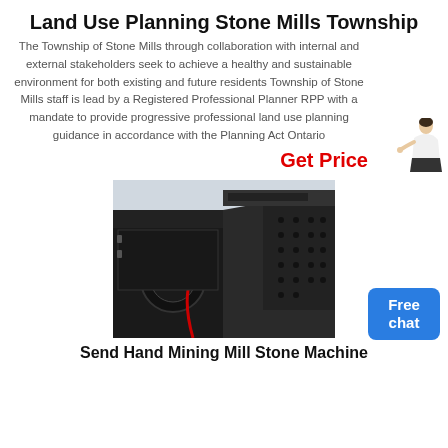Land Use Planning Stone Mills Township
The Township of Stone Mills through collaboration with internal and external stakeholders seek to achieve a healthy and sustainable environment for both existing and future residents Township of Stone Mills staff is lead by a Registered Professional Planner RPP with a mandate to provide progressive professional land use planning guidance in accordance with the Planning Act Ontario
Get Price
[Figure (photo): Industrial stone mill / mining machine — large black heavy-duty industrial crushing or milling machine photographed indoors on a factory floor]
Send Hand Mining Mill Stone Machine